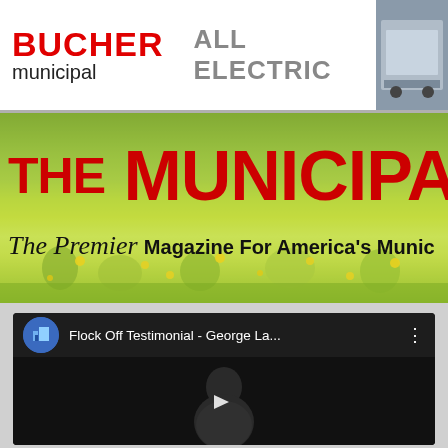[Figure (logo): Bucher Municipal advertisement banner with 'BUCHER municipal' logo in red/black and 'ALL ELECTRIC' text in gray, with a photo of a vehicle on the right]
[Figure (screenshot): The Municipal magazine header banner with red bold title text 'THE MUNICIPA' on a green grass/flower background, with subtitle 'The Premier Magazine For America's Munic']
[Figure (screenshot): YouTube video embed showing 'Flock Off Testimonial - George La...' with a dark video thumbnail of a person and a play button]